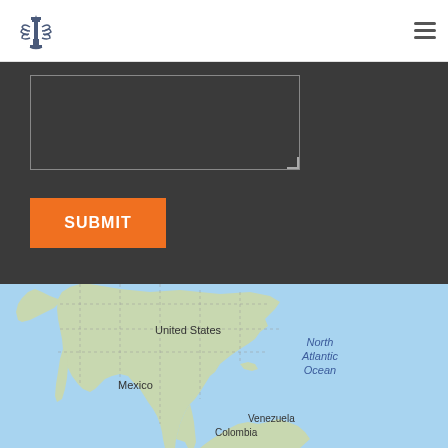[Figure (logo): Legal organization logo with pen nib, laurel wreath, and column icon in dark blue/grey tones]
[Figure (screenshot): Hamburger menu icon (three horizontal lines) in the top right corner]
[Figure (screenshot): Dark background textarea input field with resize handle]
[Figure (screenshot): Orange SUBMIT button]
[Figure (map): Google Maps view showing North America including United States, Mexico, Venezuela, Colombia, and North Atlantic Ocean label]